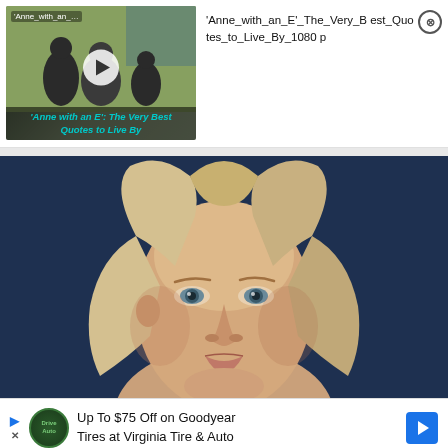[Figure (screenshot): Video thumbnail showing 'Anne with an E: The Very Best Quotes to Live By' with play button overlay and italic teal title text at bottom]
'Anne_with_an_E'_The_Very_Best_Quotes_to_Live_By_1080p
[Figure (photo): Close-up portrait of a blonde woman with blue-grey eyes against a dark navy blue background, looking directly at camera]
Up To $75 Off on Goodyear Tires at Virginia Tire & Auto